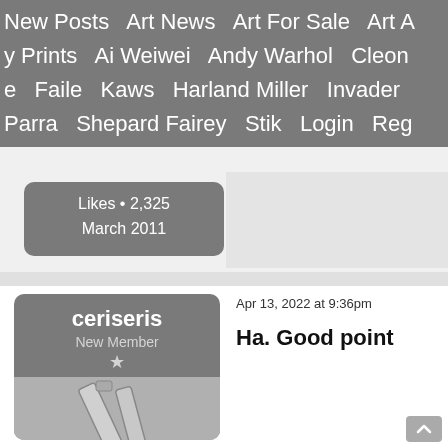New Posts   Art News   Art For Sale   Art A... y Prints   Ai Weiwei   Andy Warhol   Cleon... e   Faile   Kaws   Harland Miller   Invader   Parra   Shepard Fairey   Stik   Login   Reg...
Likes • 2,325
March 2011
ceriseris
New Member
★
Apr 13, 2022 at 9:36pm
Ha. Good point